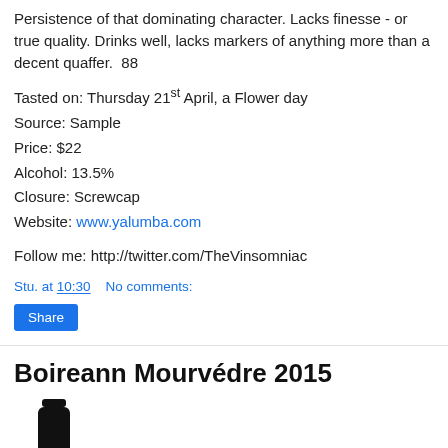Persistence of that dominating character. Lacks finesse - or true quality. Drinks well, lacks markers of anything more than a decent quaffer.  88
Tasted on: Thursday 21st April, a Flower day
Source: Sample
Price: $22
Alcohol: 13.5%
Closure: Screwcap
Website: www.yalumba.com
Follow me: http://twitter.com/TheVinsomniac
Stu. at 10:30    No comments:
Boireann Mourvédre 2015
[Figure (photo): Partial view of a dark wine bottle neck and top, cropped at bottom of page]